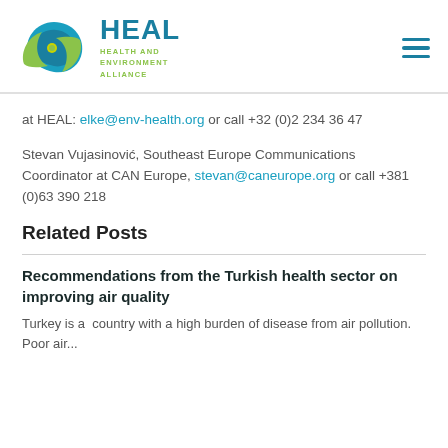[Figure (logo): HEAL Health and Environment Alliance logo with circular teal and green swirl graphic]
at HEAL: elke@env-health.org or call +32 (0)2 234 36 47
Stevan Vujasinović, Southeast Europe Communications Coordinator at CAN Europe, stevan@caneurope.org or call +381 (0)63 390 218
Related Posts
Recommendations from the Turkish health sector on improving air quality
Turkey is a  country with a high burden of disease from air pollution. Poor air...